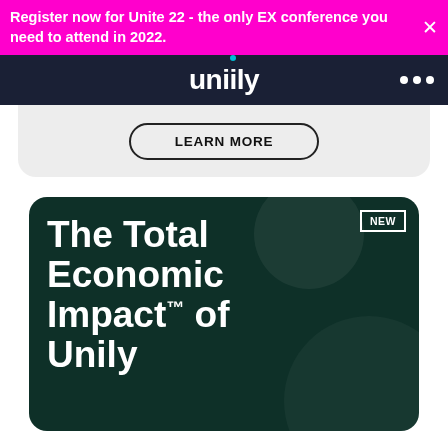Register now for Unite 22 - the only EX conference you need to attend in 2022.
[Figure (logo): Unily logo with cyan dot above the 'i', white text on dark navy background, with three white dots menu icon on the right]
[Figure (screenshot): Light grey card area with a LEARN MORE button (bordered pill shape)]
[Figure (illustration): Dark green card with NEW badge, showing large white bold text: The Total Economic Impact™ of Unily]